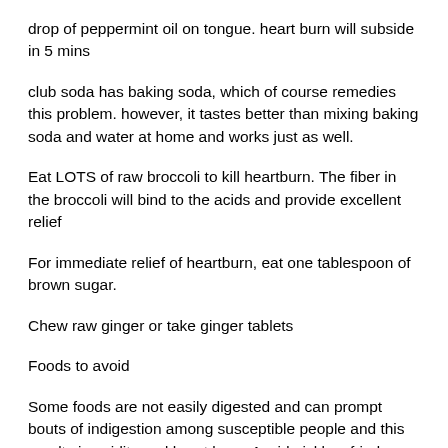drop of peppermint oil on tongue. heart burn will subside in 5 mins
club soda has baking soda, which of course remedies this problem. however, it tastes better than mixing baking soda and water at home and works just as well.
Eat LOTS of raw broccoli to kill heartburn. The fiber in the broccoli will bind to the acids and provide excellent relief
For immediate relief of heartburn, eat one tablespoon of brown sugar.
Chew raw ginger or take ginger tablets
Foods to avoid
Some foods are not easily digested and can prompt bouts of indigestion among susceptible people and this results in acidity and heart burn. Avoid pickles, fried foods, hot spicy foods, chocolate, pastries, and raw salad